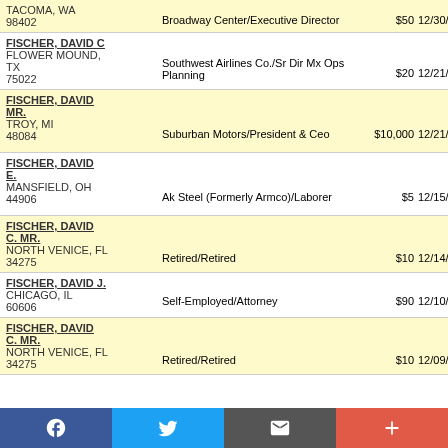| Name/Address | Employer/Occupation | Amount | Date | P | Committee |
| --- | --- | --- | --- | --- | --- |
| TACOMA, WA 98402 | Broadway Center/Executive Director | $50 | 12/30/2015 | P | PEOPL... |
| FISCHER, DAVID C
FLOWER MOUND, TX 75022 | Southwest Airlines Co./Sr Dir Mx Ops Planning | $20 | 12/21/2015 |  | SOUT... |
| FISCHER, DAVID MR.
TROY, MI 48084 | Suburban Motors/President & Ceo | $10,000 | 12/21/2015 | P | MICHIO... |
| FISCHER, DAVID E.
MANSFIELD, OH 44906 | Ak Steel (Formerly Armco)/Laborer | $5 | 12/15/2015 |  | UNITED
None |
| FISCHER, DAVID C. MR.
NORTH VENICE, FL 34275 | Retired/Retired | $10 | 12/14/2015 | P | CARSO... |
| FISCHER, DAVID J.
CHICAGO, IL 60606 | Self-Employed/Attorney | $90 | 12/10/2015 |  | LOCKE... |
| FISCHER, DAVID C. MR.
NORTH VENICE, FL 34275 | Retired/Retired | $10 | 12/09/2015 | P | CARSO... |